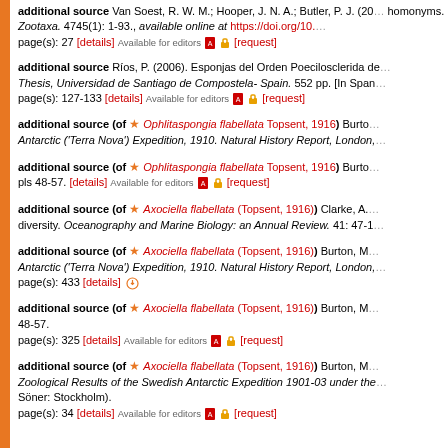additional source Van Soest, R. W. M.; Hooper, J. N. A.; Butler, P. J. (20...) homonyms. Zootaxa. 4745(1): 1-93., available online at https://doi.org/10.... page(s): 27 [details] Available for editors [request]
additional source Ríos, P. (2006). Esponjas del Orden Poecilosclerida de... Thesis, Universidad de Santiago de Compostela- Spain. 552 pp. [In Span... page(s): 127-133 [details] Available for editors [request]
additional source (of ★ Ophlitaspongia flabellata Topsent, 1916) Burto... Antarctic ('Terra Nova') Expedition, 1910. Natural History Report, London,...
additional source (of ★ Ophlitaspongia flabellata Topsent, 1916) Burto... pls 48-57. [details] Available for editors [request]
additional source (of ★ Axociella flabellata (Topsent, 1916)) Clarke, A.... diversity. Oceanography and Marine Biology: an Annual Review. 41: 47-1...
additional source (of ★ Axociella flabellata (Topsent, 1916)) Burton, M... Antarctic ('Terra Nova') Expedition, 1910. Natural History Report, London,... page(s): 433 [details]
additional source (of ★ Axociella flabellata (Topsent, 1916)) Burton, M... 48-57. page(s): 325 [details] Available for editors [request]
additional source (of ★ Axociella flabellata (Topsent, 1916)) Burton, M... Zoological Results of the Swedish Antarctic Expedition 1901-03 under the... Söner: Stockholm). page(s): 34 [details] Available for editors [request]